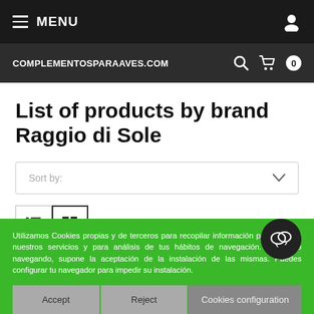MENU
COMPLEMENTOSPARAAVES.COM
List of products by brand Raggio di Sole
Sort by:
Showing 1-18 of 18 item(s)
Utilizamos Cookies propias y de terceros para recopilar información para mejorar nuestros servicios y para análisis de tus hábitos de navegación. Siguiendo navegando, supone la aceptación de la instalación de las mismas. Puedes configurar tu navegador para impedir su instalación.
Accept
Reject
Cookies configuration